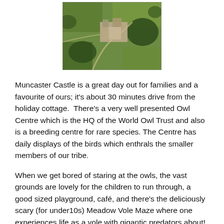[Figure (photo): Aerial photograph of Muncaster Castle and its grounds, showing the castle buildings surrounded by trees and green fields from above.]
Muncaster Castle is a great day out for families and a favourite of ours; it's about 30 minutes drive from the holiday cottage.  There's a very well presented Owl Centre which is the HQ of the World Owl Trust and also is a breeding centre for rare species. The Centre has daily displays of the birds which enthrals the smaller members of our tribe.
When we get bored of staring at the owls, the vast grounds are lovely for the children to run through, a good sized playground, café, and there's the deliciously scary (for under10s) Meadow Vole Maze where one experiences life as a vole with gigantic predators about!